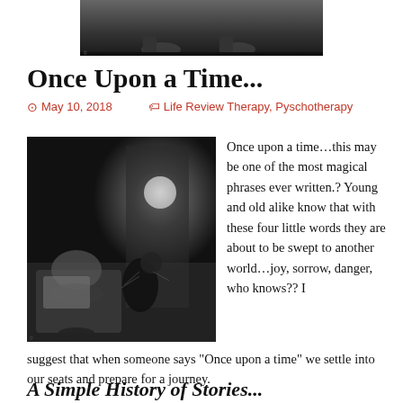[Figure (photo): Black and white photo at top of page, partial view of feet/shoes]
Once Upon a Time...
May 10, 2018   Life Review Therapy, Pyschotherapy
[Figure (photo): Black and white photo of a young child reading a book/magazine while sitting, with a black cat nearby, moon visible in background window]
Once upon a time...this may be one of the most magical phrases ever written.? Young and old alike know that with these four little words they are about to be swept to another world...joy, sorrow, danger, who knows?? I suggest that when someone says “Once upon a time” we settle into our seats and prepare for a journey.
A Simple History of Stories...